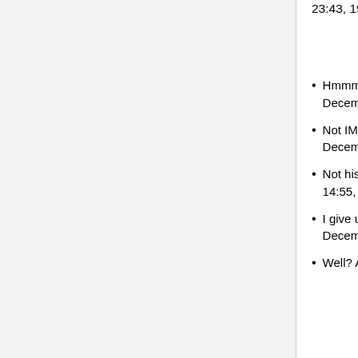23:43, 19 December 2007 (EST)
Hmmmm.....--Hero! (talk) (contribs) 00:40, 20 December 2007 (EST)
Not IMDb...--Hero! (talk) (contribs) 00:48, 20 December 2007 (EST)
Not his/her talk archive...--Hero! (talk) (contribs) 14:55, 20 December 2007 (EST)
I give up. --Hero! (talk) (contribs) 18:07, 21 December 2007 (EST)
Well? Aren't you...